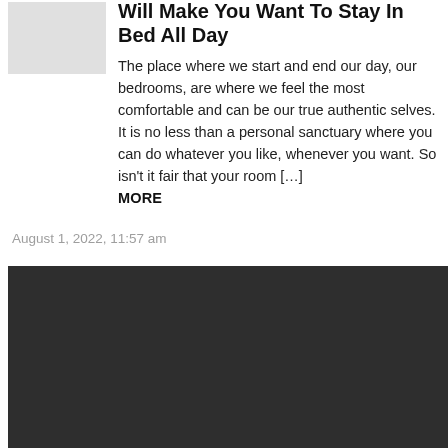[Figure (photo): Gray placeholder thumbnail image]
Will Make You Want To Stay In Bed All Day
The place where we start and end our day, our bedrooms, are where we feel the most comfortable and can be our true authentic selves. It is no less than a personal sanctuary where you can do whatever you like, whenever you want. So isn't it fair that your room […] MORE
August 1, 2022, 11:57 am
[Figure (photo): Dark/black rectangular image block at the bottom of the page]